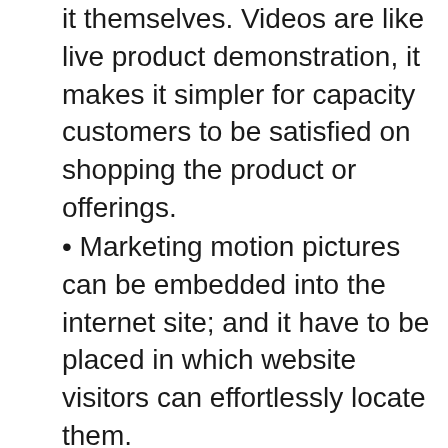it themselves. Videos are like live product demonstration, it makes it simpler for capacity customers to be satisfied on shopping the product or offerings.
• Marketing motion pictures can be embedded into the internet site; and it have to be placed in which website visitors can effortlessly locate them.
Website site visitors are greater willing to watching videos in place of studying paragraph text to introduce and promote your commercial enterprise. Video advertising and marketing and YouTube marketing has greater capability in getting effective effects examine to other types of internet marketing consisting of sending